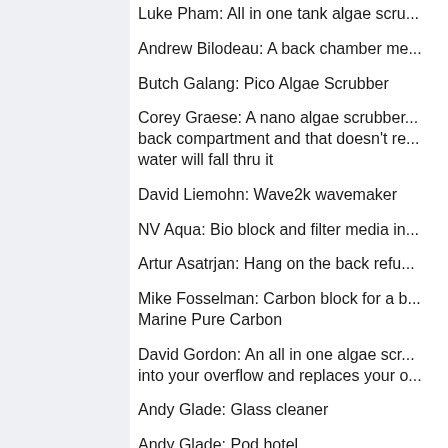Luke Pham: All in one tank algae scru...
Andrew Bilodeau: A back chamber me...
Butch Galang: Pico Algae Scrubber
Corey Graese: A nano algae scrubber... back compartment and that doesn't re... water will fall thru it
David Liemohn: Wave2k wavemaker
NV Aqua: Bio block and filter media in...
Artur Asatrjan: Hang on the back refu...
Mike Fosselman: Carbon block for a b... Marine Pure Carbon
David Gordon: An all in one algae scr... into your overflow and replaces your o...
Andy Glade: Glass cleaner
Andy Glade: Pod hotel
Harold Lynnwood Mccampbell Jr: Bris...
Johnson Hull: Algae scrubber for nano...